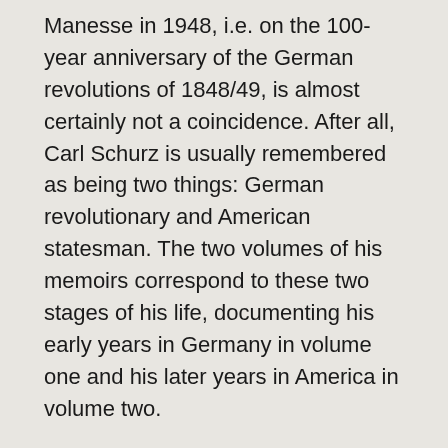Manesse in 1948, i.e. on the 100-year anniversary of the German revolutions of 1848/49, is almost certainly not a coincidence. After all, Carl Schurz is usually remembered as being two things: German revolutionary and American statesman. The two volumes of his memoirs correspond to these two stages of his life, documenting his early years in Germany in volume one and his later years in America in volume two.
Schurz is born in the Rhineland in 1829, to which he owes, like he says, his "buoyant Rhenish blood" and his "sanguine" nature. He leads a turbulent life, but he is also born into turbulent times. As a young man he takes up his academic studies at the University of Bonn, where he meets his later friend, mentor, and co-revolutionary Gottfried Kinkel, who teaches German literature at the university. Schurz joins the democratic movement and actively takes part in the activities of the German revolution of 1848/49. To sit that the